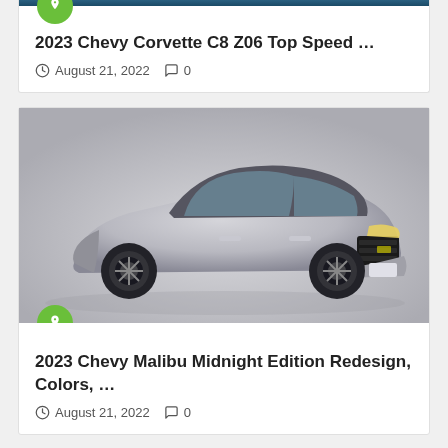2023 Chevy Corvette C8 Z06 Top Speed …
August 21, 2022  0
[Figure (photo): 2023 Chevrolet Malibu Midnight Edition silver sedan on gray background]
2023 Chevy Malibu Midnight Edition Redesign, Colors, …
August 21, 2022  0